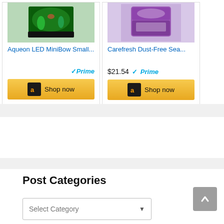[Figure (screenshot): Amazon product card for Aqueon LED MiniBow Small fish tank with Prime badge and Shop now button]
[Figure (screenshot): Amazon product card for Carefresh Dust-Free Sea bedding, priced at $21.54, with Prime badge and Shop now button]
Post Categories
[Figure (screenshot): Select Category dropdown widget]